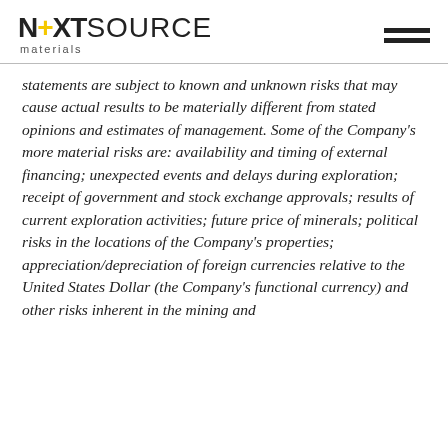NEXTSOURCE materials
statements are subject to known and unknown risks that may cause actual results to be materially different from stated opinions and estimates of management. Some of the Company's more material risks are: availability and timing of external financing; unexpected events and delays during exploration; receipt of government and stock exchange approvals; results of current exploration activities; future price of minerals; political risks in the locations of the Company's properties; appreciation/depreciation of foreign currencies relative to the United States Dollar (the Company's functional currency) and other risks inherent in the mining and